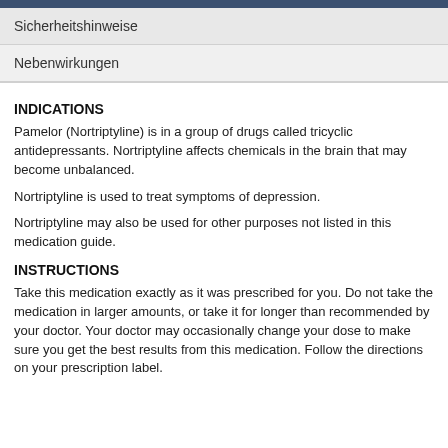Sicherheitshinweise
Nebenwirkungen
INDICATIONS
Pamelor (Nortriptyline) is in a group of drugs called tricyclic antidepressants. Nortriptyline affects chemicals in the brain that may become unbalanced.
Nortriptyline is used to treat symptoms of depression.
Nortriptyline may also be used for other purposes not listed in this medication guide.
INSTRUCTIONS
Take this medication exactly as it was prescribed for you. Do not take the medication in larger amounts, or take it for longer than recommended by your doctor. Your doctor may occasionally change your dose to make sure you get the best results from this medication. Follow the directions on your prescription label.